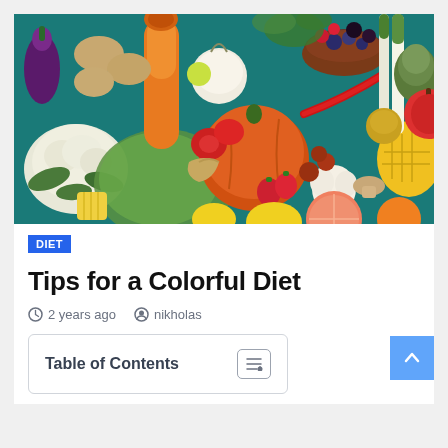[Figure (photo): Colorful assortment of fruits and vegetables including cauliflower, butternut squash, tomatoes, corn, berries, mango, citrus fruits, peppers, garlic, mushrooms, and various greens arranged on a teal background]
DIET
Tips for a Colorful Diet
2 years ago  nikholas
Table of Contents